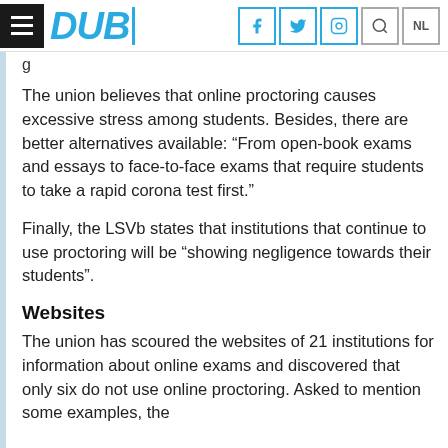DUB
The union believes that online proctoring causes excessive stress among students. Besides, there are better alternatives available: “From open-book exams and essays to face-to-face exams that require students to take a rapid corona test first.”
Finally, the LSVb states that institutions that continue to use proctoring will be “showing negligence towards their students”.
Websites
The union has scoured the websites of 21 institutions for information about online exams and discovered that only six do not use online proctoring. Asked to mention some examples, the